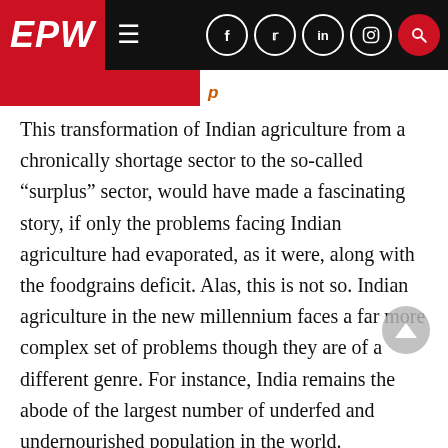EPW
This transformation of Indian agriculture from a chronically shortage sector to the so-called “surplus” sector, would have made a fascinating story, if only the problems facing Indian agriculture had evaporated, as it were, along with the foodgrains deficit. Alas, this is not so. Indian agriculture in the new millennium faces a far more complex set of problems though they are of a different genre. For instance, India remains the abode of the largest number of underfed and undernourished population in the world. According to FAO, over 225 million Indians remain chronically undernourished. How does one explain the apparent paradox of the co-existence of large